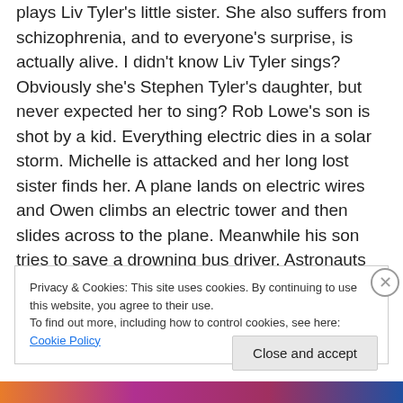plays Liv Tyler's little sister. She also suffers from schizophrenia, and to everyone's surprise, is actually alive. I didn't know Liv Tyler sings? Obviously she's Stephen Tyler's daughter, but never expected her to sing? Rob Lowe's son is shot by a kid. Everything electric dies in a solar storm. Michelle is attacked and her long lost sister finds her. A plane lands on electric wires and Owen climbs an electric tower and then slides across to the plane. Meanwhile his son tries to save a drowning bus driver. Astronauts are burned by radiation, one of them makes a phone call home, and dies while on the phone with his
Privacy & Cookies: This site uses cookies. By continuing to use this website, you agree to their use.
To find out more, including how to control cookies, see here: Cookie Policy